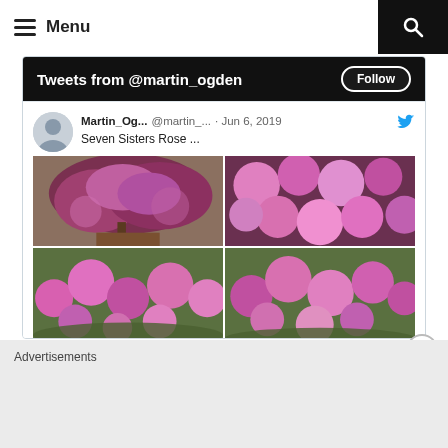Menu
Tweets from @martin_ogden
Follow
Martin_Og... @martin_... · Jun 6, 2019
Seven Sisters Rose ...
[Figure (photo): Four photo grid of Seven Sisters Rose flowers, showing clusters of pink roses in various close-up and wider shots]
Advertisements